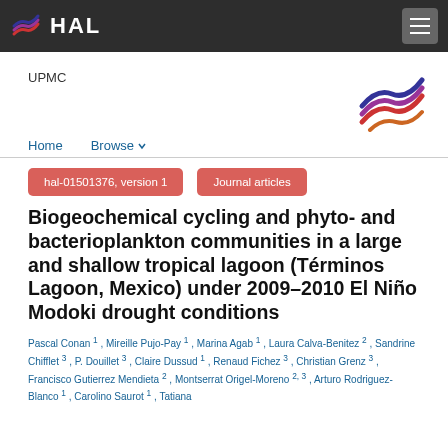HAL
UPMC
Home  Browse
hal-01501376, version 1    Journal articles
Biogeochemical cycling and phyto- and bacterioplankton communities in a large and shallow tropical lagoon (Términos Lagoon, Mexico) under 2009–2010 El Niño Modoki drought conditions
Pascal Conan 1 , Mireille Pujo-Pay 1 , Marina Agab 1 , Laura Calva-Benitez 2 , Sandrine Chifflet 3 , P. Douillet 3 , Claire Dussud 1 , Renaud Fichez 3 , Christian Grenz 3 , Francisco Gutierrez Mendieta 2 , Montserrat Origel-Moreno 2, 3 , Arturo Rodriguez-Blanco 1 , Carolino Saurot 1 , Tatiana